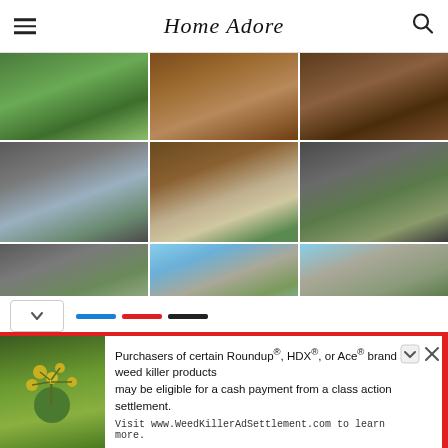Home Adore
[Figure (photo): Grid of 12 architectural photos showing a modern concrete house with green vegetation in Ha Long Bay, Vietnam. Photos include exterior shots, interior bedroom and dining rooms, aerial city views, and close-up architectural details.]
Purchasers of certain Roundup®, HDX®, or Ace® brand weed killer products may be eligible for a cash payment from a class action settlement. Visit www.WeedKillerAdSettlement.com to learn more.